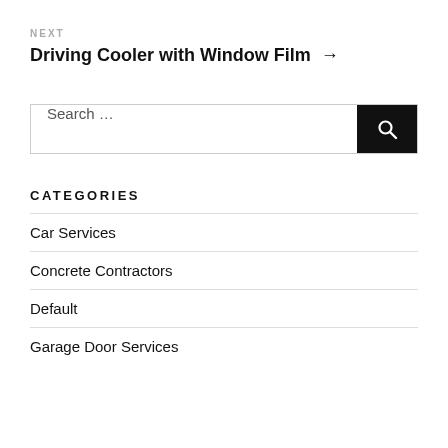NEXT
Driving Cooler with Window Film →
Search …
CATEGORIES
Car Services
Concrete Contractors
Default
Garage Door Services